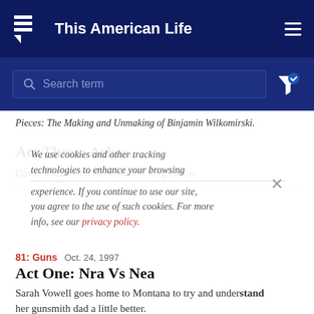This American Life
Search term
Pieces: The Making and Unmaking of Binjamin Wilkomirski.
Act Three: Ashes
David Sedaris, on his mother's lung cancer.
We use cookies and other tracking technologies to enhance your browsing experience. If you continue to use our site, you agree to the use of such cookies. For more info, see our privacy policy.
81: Guns  Oct. 24, 1997
Act One: Nra Vs Nea
Sarah Vowell goes home to Montana to try and understand her gunsmith dad a little better.